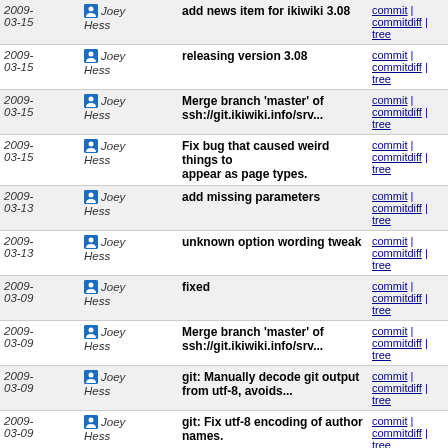| Date | Author | Message | Links |
| --- | --- | --- | --- |
| 2009-03-15 | Joey Hess | add news item for ikiwiki 3.08 | commit | commitdiff | tree |
| 2009-03-15 | Joey Hess | releasing version 3.08 | commit | commitdiff | tree |
| 2009-03-15 | Joey Hess | Merge branch 'master' of ssh://git.ikiwiki.info/srv... | commit | commitdiff | tree |
| 2009-03-15 | Joey Hess | Fix bug that caused weird things to appear as page types. | commit | commitdiff | tree |
| 2009-03-13 | Joey Hess | add missing parameters | commit | commitdiff | tree |
| 2009-03-13 | Joey Hess | unknown option wording tweak | commit | commitdiff | tree |
| 2009-03-09 | Joey Hess | fixed | commit | commitdiff | tree |
| 2009-03-09 | Joey Hess | Merge branch 'master' of ssh://git.ikiwiki.info/srv... | commit | commitdiff | tree |
| 2009-03-09 | Joey Hess | git: Manually decode git output from utf-8, avoids... | commit | commitdiff | tree |
| 2009-03-09 | Joey Hess | git: Fix utf-8 encoding of author names. | commit | commitdiff | tree |
| 2009-03-09 | Joey Hess | avoid uninitialized value warnings | commit | commitdiff | tree |
| 2009-03-08 | Joey Hess | add news item for ikiwiki 3.07 | commit | commitdiff | tree |
| 2009-03-08 | Joey Hess | releasing version 3.07 | commit | commitdiff | tree |